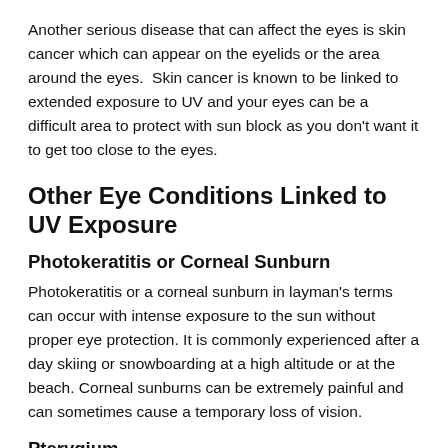Another serious disease that can affect the eyes is skin cancer which can appear on the eyelids or the area around the eyes. Skin cancer is known to be linked to extended exposure to UV and your eyes can be a difficult area to protect with sun block as you don't want it to get too close to the eyes.
Other Eye Conditions Linked to UV Exposure
Photokeratitis or Corneal Sunburn
Photokeratitis or a corneal sunburn in layman's terms can occur with intense exposure to the sun without proper eye protection. It is commonly experienced after a day skiing or snowboarding at a high altitude or at the beach. Corneal sunburns can be extremely painful and can sometimes cause a temporary loss of vision.
Pterygium